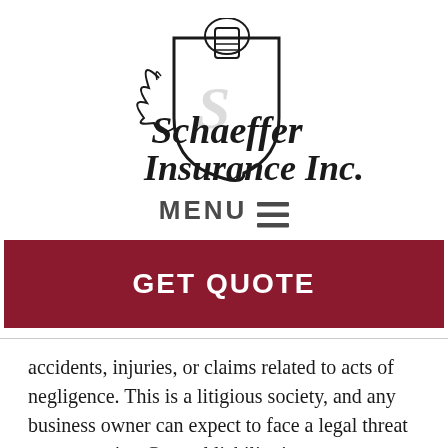[Figure (logo): Schaeffer Insurance Inc. logo with a knight helmet on a shield crest flanked by a dragon/lion figure, with blackletter text 'Schaeffer Insurance Inc.']
MENU ☰
GET QUOTE
accidents, injuries, or claims related to acts of negligence. This is a litigious society, and any business owner can expect to face a legal threat at some point. General liability insurance pays to